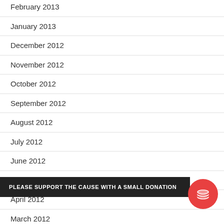February 2013
January 2013
December 2012
November 2012
October 2012
September 2012
August 2012
July 2012
June 2012
May 2012
April 2012
March 2012
January 2012
PLEASE SUPPORT THE CAUSE WITH A SMALL DONATION